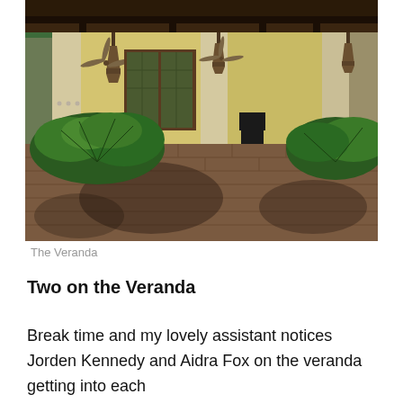[Figure (photo): Exterior photo of a veranda with Mediterranean-style architecture, featuring cream-colored stucco columns, dark wood ceiling, hanging lantern lights, ceiling fans, fern/palm plants on a brick patio, and French doors in the background.]
The Veranda
Two on the Veranda
Break time and my lovely assistant notices Jorden Kennedy and Aidra Fox on the veranda getting into each